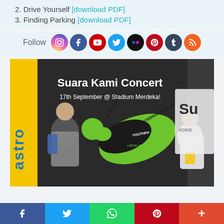2. Drive Yourself [download PDF]
3. Finding Parking [download PDF]
Follow
[Figure (photo): Photo of two young men posing in front of a 'Suara Kami Concert 17th September @ Stadium Merdeka!' banner/backdrop with green bird typography design, with an Astro yellow banner on the left side]
f  Twitter  WhatsApp  Pinterest  More